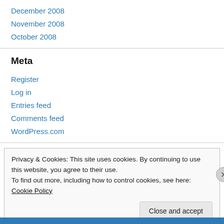December 2008
November 2008
October 2008
Meta
Register
Log in
Entries feed
Comments feed
WordPress.com
Privacy & Cookies: This site uses cookies. By continuing to use this website, you agree to their use. To find out more, including how to control cookies, see here: Cookie Policy
Close and accept